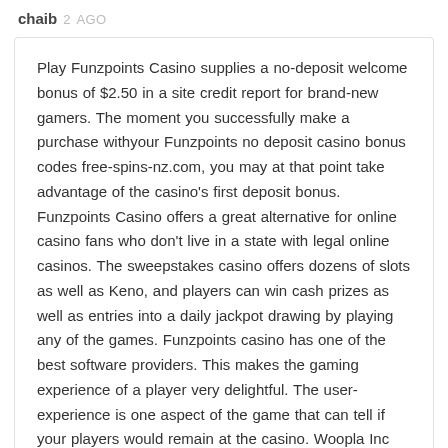chaib 2 AGO
Play Funzpoints Casino supplies a no-deposit welcome bonus of $2.50 in a site credit report for brand-new gamers. The moment you successfully make a purchase withyour Funzpoints no deposit casino bonus codes free-spins-nz.com, you may at that point take advantage of the casino's first deposit bonus. Funzpoints Casino offers a great alternative for online casino fans who don't live in a state with legal online casinos. The sweepstakes casino offers dozens of slots as well as Keno, and players can win cash prizes as well as entries into a daily jackpot drawing by playing any of the games. Funzpoints casino has one of the best software providers. This makes the gaming experience of a player very delightful. The user-experience is one aspect of the game that can tell if your players would remain at the casino. Woopla Inc offers the best software for Funzpoints members.
https://lovemypizza.com/community/profile/nereidafosbrook/
The casino is high on the game variety on sites with